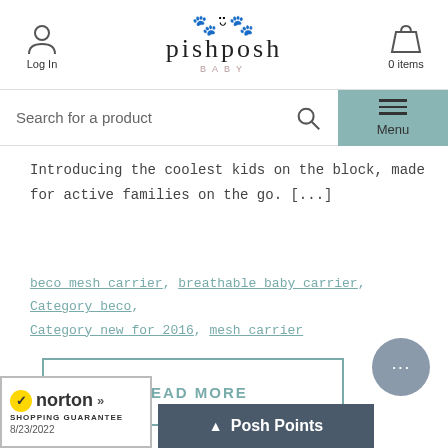pishposh BABY — Log In — 0 items
Search for a product
Menu
Introducing the coolest kids on the block, made for active families on the go. [...]
beco mesh carrier, breathable baby carrier, Category_beco, Category_new for 2016, mesh carrier
READ MORE
[Figure (logo): Norton Shopping Guarantee badge with checkmark, date 8/23/2022]
Posh Points